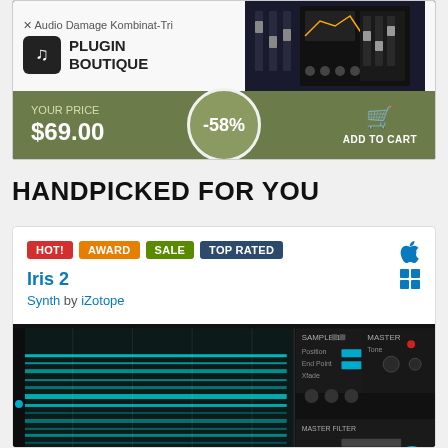[Figure (screenshot): Plugin Boutique advertisement banner showing Audio Damage Kombinat-Tri plugin with price $69.00 at -58% discount and Add to Cart button]
HANDPICKED FOR YOU
[Figure (screenshot): Product card for Iris 2 Synth by iZotope with HOT!, AWARD, SALE, TOP RATED badges and plugin screenshot showing spectral synthesizer interface]
Iris 2
Synth by iZotope